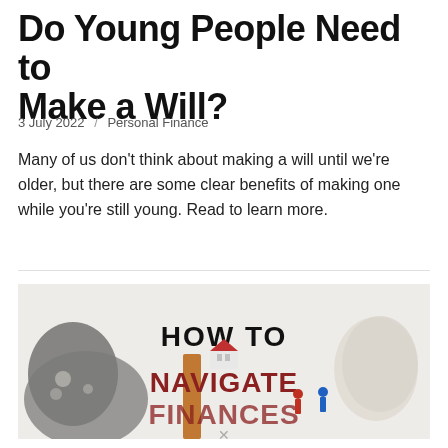Do Young People Need to Make a Will?
3 July 2022 / Personal Finance
Many of us don't think about making a will until we're older, but there are some clear benefits of making one while you're still young. Read to learn more.
[Figure (photo): Promotional image with text 'HOW TO NAVIGATE FINANCES' featuring a small house icon, figurines, and fabric objects on a light background]